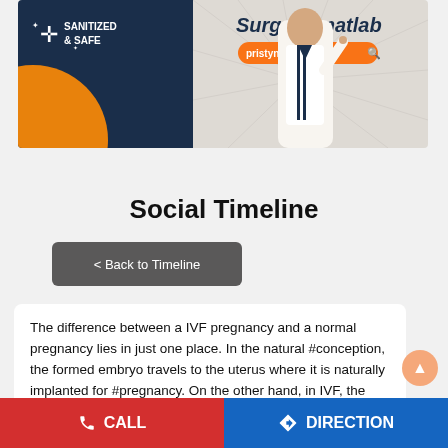[Figure (photo): Advertisement banner for Pristyn Care showing a doctor in white coat with text 'SANITIZED & SAFE' and 'Surgery matlab' with website pristyncare.com]
Social Timeline
< Back to Timeline
The difference between a IVF pregnancy and a normal pregnancy lies in just one place. In the natural #conception, the formed embryo travels to the uterus where it is naturally implanted for #pregnancy. On the other hand, in IVF, the embryo is created in a lab under expert supervision and then implanted in the uterus. "Are IVF babies healthy as normal babies?" - This is quite a
CALL   DIRECTION